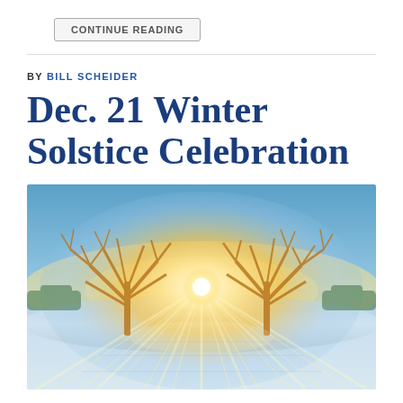CONTINUE READING
BY BILL SCHEIDER
Dec. 21 Winter Solstice Celebration
[Figure (photo): Winter solstice sunrise scene with bare frost-covered trees silhouetted against a bright golden sun low on the horizon, with light rays fanning across a frozen icy surface, blue sky above and snow-covered ground.]